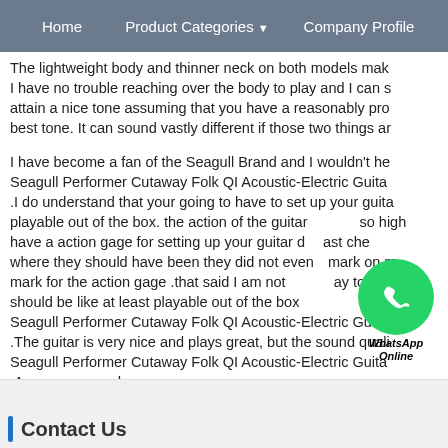Home | Product Categories ▼ | Company Profile
The lightweight body and thinner neck on both models make I have no trouble reaching over the body to play and I can s attain a nice tone assuming that you have a reasonably pro best tone. It can sound vastly different if those two things ar
I have become a fan of the Seagull Brand and I wouldn't he Seagull Performer Cutaway Folk QI Acoustic-Electric Guita .I do understand that your going to have to set up your guita playable out of the box. the action of the guitar so high have a action gage for setting up your guitar d ast che where they should have been they did not even mark on m mark for the action gage .that said I am not ay to should be like at least playable out of the box Seagull Performer Cutaway Folk QI Acoustic-Electric Guita .The guitar is very nice and plays great, but the sound quali Seagull Performer Cutaway Folk QI Acoustic-Electric Guita .Awesome sound Seagull Performer Cutaway Folk QI Acoustic-Electric Guita .
[Figure (logo): WhatsApp green circle icon with phone handset, labeled WhatsApp Online]
Contact Us